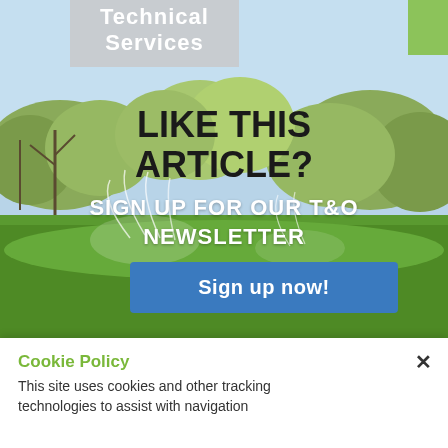[Figure (photo): Golf course with sprinklers running, green grass and trees in background, with overlay header reading 'Technical Services' in gray bar at top]
LIKE THIS ARTICLE?
SIGN UP FOR OUR T&O NEWSLETTER
Sign up now!
Cookie Policy
This site uses cookies and other tracking technologies to assist with navigation